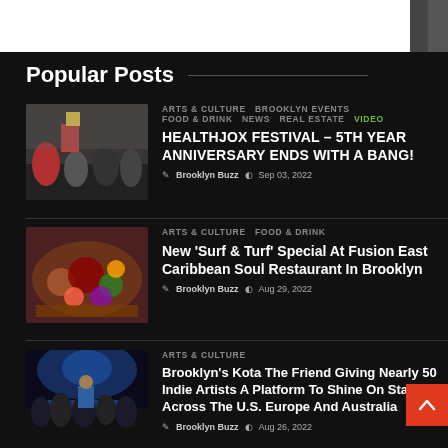Popular Posts
[Figure (photo): People at a festival, someone holding up a sign]
ARTS & CULTURE  BROOKLYN EVENTS  FOOD & DRINK  NEWS  REAL ESTATE  VIDEO
HEALTHJOX FESTIVAL – 5TH YEAR ANNIVERSARY ENDS WITH A BANG!
Brooklyn Buzz  Sep 03, 2022
[Figure (photo): Food platter with various dishes on a dark red board]
ARTS & CULTURE  FOOD & DRINK
New 'Surf & Turf' Special At Fusion East Caribbean Soul Restaurant In Brooklyn
Brooklyn Buzz  Aug 29, 2022
[Figure (photo): Concert scene with artist on stage and crowd below, blue lighting]
ARTS & CULTURE
Brooklyn's Kota The Friend Giving Nearly 50 Indie Artists A Platform To Shine On Stages Across The U.S. Europe And Australia
Brooklyn Buzz  Aug 26, 2022